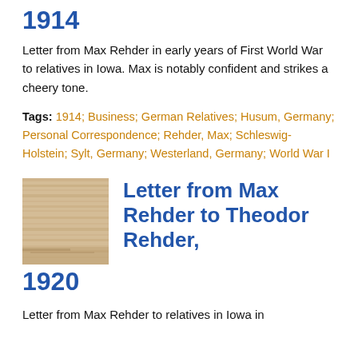1914
Letter from Max Rehder in early years of First World War to relatives in Iowa. Max is notably confident and strikes a cheery tone.
Tags: 1914; Business; German Relatives; Husum, Germany; Personal Correspondence; Rehder, Max; Schleswig-Holstein; Sylt, Germany; Westerland, Germany; World War I
[Figure (photo): Thumbnail image of an old letter or document with wood-like texture]
Letter from Max Rehder to Theodor Rehder, 1920
Letter from Max Rehder to relatives in Iowa in